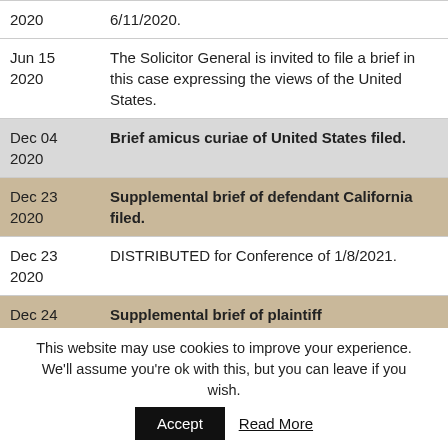| Date | Description |
| --- | --- |
| 2020 | 6/11/2020. |
| Jun 15
2020 | The Solicitor General is invited to file a brief in this case expressing the views of the United States. |
| Dec 04
2020 | Brief amicus curiae of United States filed. |
| Dec 23
2020 | Supplemental brief of defendant California filed. |
| Dec 23
2020 | DISTRIBUTED for Conference of 1/8/2021. |
| Dec 24 | Supplemental brief of plaintiff |
This website may use cookies to improve your experience. We'll assume you're ok with this, but you can leave if you wish.